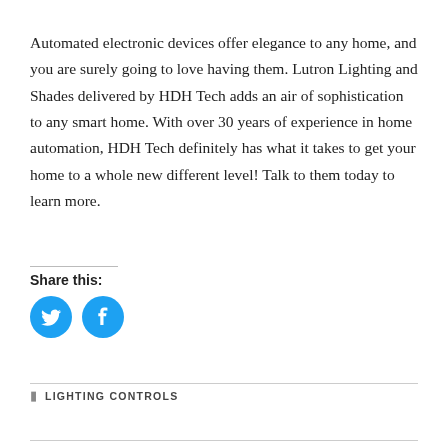Automated electronic devices offer elegance to any home, and you are surely going to love having them. Lutron Lighting and Shades delivered by HDH Tech adds an air of sophistication to any smart home. With over 30 years of experience in home automation, HDH Tech definitely has what it takes to get your home to a whole new different level! Talk to them today to learn more.
Share this:
[Figure (illustration): Two circular social media icons side by side: Twitter bird icon (cyan/blue circle) and Facebook 'f' icon (cyan/blue circle)]
LIGHTING CONTROLS